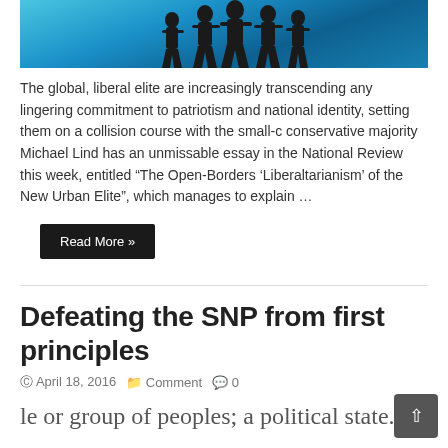[Figure (photo): Silhouette of people walking on a blue gradient background]
The global, liberal elite are increasingly transcending any lingering commitment to patriotism and national identity, setting them on a collision course with the small-c conservative majority Michael Lind has an unmissable essay in the National Review this week, entitled “The Open-Borders ‘Liberaltarianism’ of the New Urban Elite”, which manages to explain …
Read More »
Defeating the SNP from first principles
© April 18, 2016  📁 Comment  💬 0
le or group of peoples; a political state.
e aggregate of communities and individuals such as common descent, language, culture, hist.